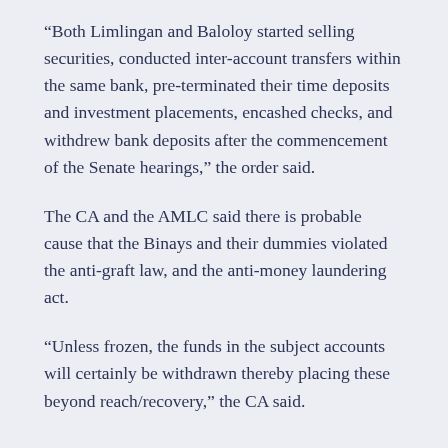“Both Limlingan and Baloloy started selling securities, conducted inter-account transfers within the same bank, pre-terminated their time deposits and investment placements, encashed checks, and withdrew bank deposits after the commencement of the Senate hearings,” the order said.
The CA and the AMLC said there is probable cause that the Binays and their dummies violated the anti-graft law, and the anti-money laundering act.
“Unless frozen, the funds in the subject accounts will certainly be withdrawn thereby placing these beyond reach/recovery,” the CA said.